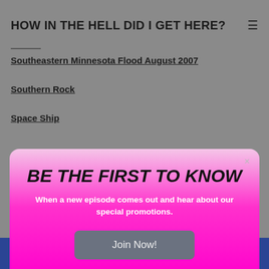HOW IN THE HELL DID I GET HERE?
Southeastern Minnesota Flood August 2007
Southern Rock
Space Ship
[Figure (screenshot): Modal popup with pink gradient background. Title: BE THE FIRST TO KNOW. Body text: When a new episode comes out and hear about our special promotions. Button: Join Now!]
Staying With My Aunt
St. Croix
Steak And Ale
Stepdad
POWERED BY weebly